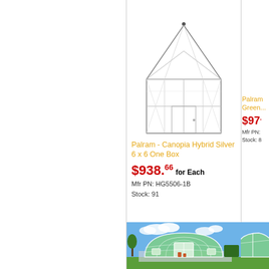[Figure (photo): Wireframe/transparent greenhouse structure - Palram Canopia Hybrid Silver 6x6 One Box, showing a small aluminum-frame greenhouse with clear panels and a peaked roof]
Palram - Canopia Hybrid Silver 6 x 6 One Box
$938.66 for Each
Mfr PN: HG5506-1B
Stock: 91
Palram Green...
$97...
Mfr PN:
Stock: 8
[Figure (photo): Green arch/tunnel greenhouse with white frame, shown in an outdoor garden setting with blue sky and trees in background]